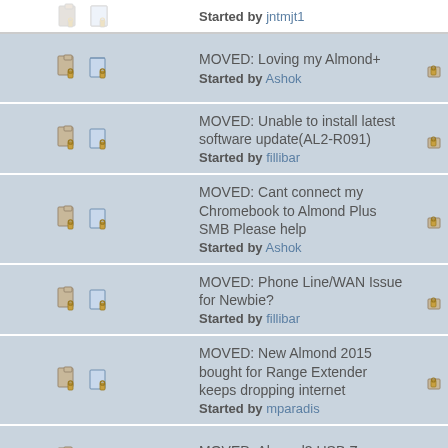Started by jntmjt1
MOVED: Loving my Almond+
Started by Ashok
MOVED: Unable to install latest software update(AL2-R091)
Started by fillibar
MOVED: Cant connect my Chromebook to Almond Plus SMB Please help
Started by Ashok
MOVED: Phone Line/WAN Issue for Newbie?
Started by fillibar
MOVED: New Almond 2015 bought for Range Extender keeps dropping internet
Started by mparadis
MOVED: Almond3 USB Zwave
Started by Ashok
MOVED: Almond+ vs Almond 3
Started by Ashok
MOVED: Almond 3 Questions
Started by Ashok